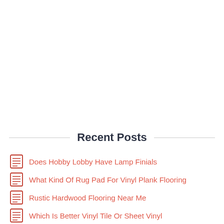Recent Posts
Does Hobby Lobby Have Lamp Finials
What Kind Of Rug Pad For Vinyl Plank Flooring
Rustic Hardwood Flooring Near Me
Which Is Better Vinyl Tile Or Sheet Vinyl
What Is The Best Flooring For Home Office